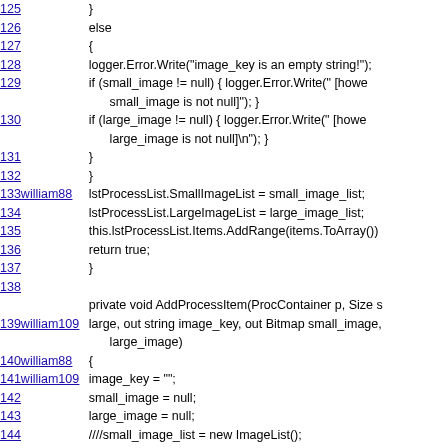Code listing showing lines 125-146 of source code
125: }
126: else
127: {
128: logger.Error.Write("image_key is an empty string!");
129: if (small_image != null) { logger.Error.Write(" [however small_image is not null]"); }
130: if (large_image != null) { logger.Error.Write(" [however large_image is not null]\n"); }
131: }
132: }
133 william88: lstProcessList.SmallImageList = small_image_list;
134: lstProcessList.LargeImageList = large_image_list;
135: this.lstProcessList.Items.AddRange(items.ToArray())
136: return true;
137: }
138:
private void AddProcessItem(ProcContainer p, Size s
139 william109: large, out string image_key, out Bitmap small_image, large_image)
140 william88: {
141 william109: image_key = "";
142: small_image = null;
143: large_image = null;
144: ////small_image_list = new ImageList();
145: ////large_image_list = new ImageList();
146: //ListViewItem item = new ListViewItem();